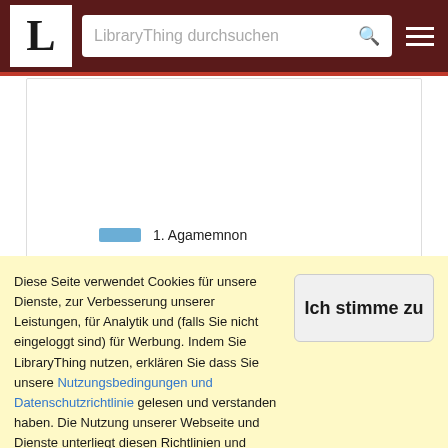L | LibraryThing durchsuchen
[Figure (other): LibraryThing chart legend showing three colored swatches: blue for '1. Agamemnon', red for '2. Die Totenspende, Oestie 2', orange for '3. Die Eumeniden']
Diese Seite verwendet Cookies für unsere Dienste, zur Verbesserung unserer Leistungen, für Analytik und (falls Sie nicht eingeloggt sind) für Werbung. Indem Sie LibraryThing nutzen, erklären Sie dass Sie unsere Nutzungsbedingungen und Datenschutzrichtlinie gelesen und verstanden haben. Die Nutzung unserer Webseite und Dienste unterliegt diesen Richtlinien und Geschäftsbedingungen.
Ich stimme zu